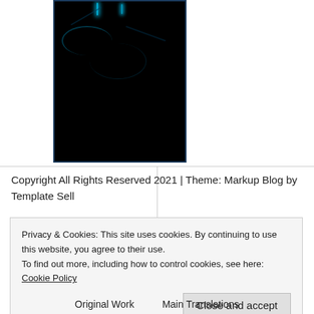[Figure (photo): Dark/black image with faint blue glowing lines and curves suggesting a dark sci-fi or abstract visual]
Copyright All Rights Reserved 2021 | Theme: Markup Blog by Template Sell
Privacy & Cookies: This site uses cookies. By continuing to use this website, you agree to their use.
To find out more, including how to control cookies, see here: Cookie Policy
Close and accept
Original Work   Main Translations